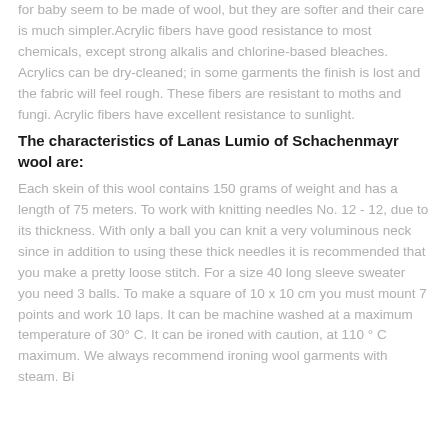for baby seem to be made of wool, but they are softer and their care is much simpler. Acrylic fibers have good resistance to most chemicals, except strong alkalis and chlorine-based bleaches. Acrylics can be dry-cleaned; in some garments the finish is lost and the fabric will feel rough. These fibers are resistant to moths and fungi. Acrylic fibers have excellent resistance to sunlight.
The characteristics of Lanas Lumio of Schachenmayr wool are:
Each skein of this wool contains 150 grams of weight and has a length of 75 meters. To work with knitting needles No. 12 - 12, due to its thickness. With only a ball you can knit a very voluminous neck since in addition to using these thick needles it is recommended that you make a pretty loose stitch. For a size 40 long sleeve sweater you need 3 balls. To make a square of 10 x 10 cm you must mount 7 points and work 10 laps. It can be machine washed at a maximum temperature of 30° C. It can be ironed with caution, at 110 ° C maximum. We always recommend ironing wool garments with steam. Bi...